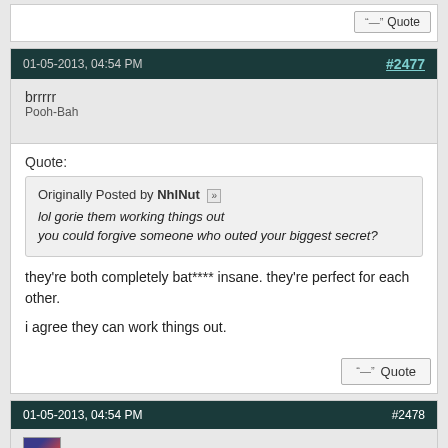Quote (button, top partial post)
01-05-2013, 04:54 PM  #2477
brrrrr
Pooh-Bah
Quote:
Originally Posted by NhlNut
lol gorie them working things out
you could forgive someone who outed your biggest secret?
they're both completely bat**** insane. they're perfect for each other.

i agree they can work things out.
Quote (button)
01-05-2013, 04:54 PM  #2478
lonely_but_rich